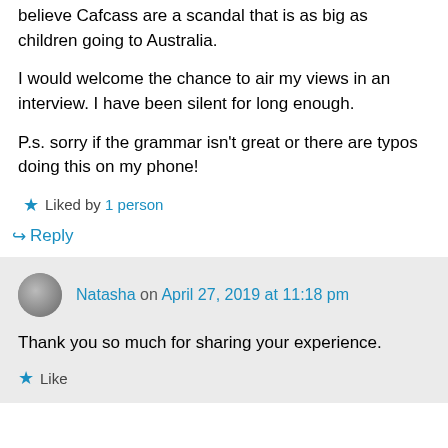believe Cafcass are a scandal that is as big as children going to Australia.
I would welcome the chance to air my views in an interview. I have been silent for long enough.
P.s. sorry if the grammar isn't great or there are typos doing this on my phone!
★ Liked by 1 person
↪ Reply
Natasha on April 27, 2019 at 11:18 pm
Thank you so much for sharing your experience.
★ Like